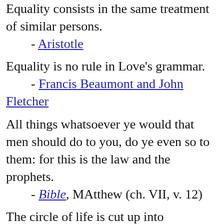Equality consists in the same treatment of similar persons.
        - Aristotle
Equality is no rule in Love's grammar.
        - Francis Beaumont and John Fletcher
All things whatsoever ye would that men should do to you, do ye even so to them: for this is the law and the prophets.
        - Bible, MAtthew (ch. VII, v. 12)
The circle of life is cut up into segments. All lines are equal if they are drawn from the centre and touch the circumference.
        - Edward George Earle Lytton Bulwer-Lytton, 1st Baron Lytton
So let them ease their hearts with prate of equal rights, which man never know.